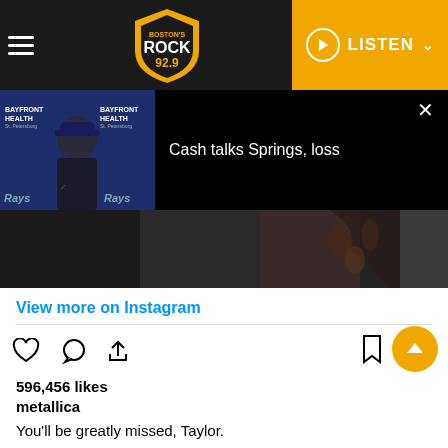[Figure (screenshot): Navigation bar with hamburger menu, Rock 92.9 Boston logo shield, and yellow LISTEN button with play icon]
[Figure (screenshot): Mini player bar showing Tampa Bay Rays manager thumbnail image and text: Cash talks Springs, loss]
[Figure (photo): Dark photo showing people standing, partial bodies visible, dark clothing with decorative pattern]
View more on Instagram
[Figure (infographic): Instagram action icons: heart (like), comment bubble, share arrow, and bookmark icon]
596,456 likes
metallica
You'll be greatly missed, Taylor.

Rest In Peace...